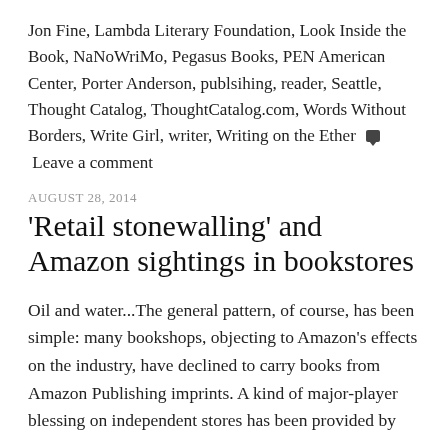Jon Fine, Lambda Literary Foundation, Look Inside the Book, NaNoWriMo, Pegasus Books, PEN American Center, Porter Anderson, publsihing, reader, Seattle, Thought Catalog, ThoughtCatalog.com, Words Without Borders, Write Girl, writer, Writing on the Ether  💬  Leave a comment
AUGUST 28, 2014
'Retail stonewalling' and Amazon sightings in bookstores
Oil and water...The general pattern, of course, has been simple: many bookshops, objecting to Amazon's effects on the industry, have declined to carry books from Amazon Publishing imprints. A kind of major-player blessing on independent stores has been provided by